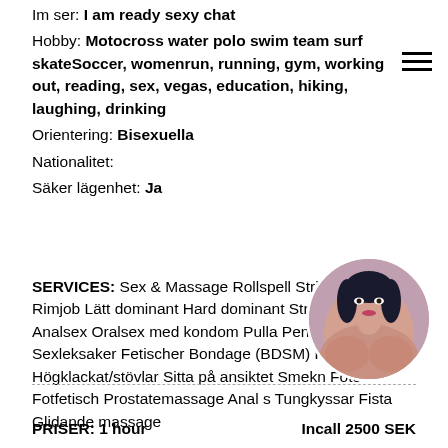Im ser: I am ready sexy chat
Hobby: Motocross water polo swim team surf skateSoccer, womenrun, running, gym, working out, reading, sex, vegas, education, hiking, laughing, drinking
Orientering: Bisexuella
Nationalitet:
Säker lägenhet: Ja
SERVICES: Sex & Massage Rollspell Striptease Rimjob Lätt dominant Hard dominant Strap-on Analsex Oralsex med kondom Pulla Penismassage Sexleksaker Fetischer Bondage (BDSM) Har flickvän Högklackat/stövlar Sitta på ansiktet Smekn Foto Fotfetisch Prostatemassage Anal s Tungkyssar Fista Glidande massage
[Figure (photo): Circular profile photo of a woman with dark hair]
PRISER: 1 hour    Incall 2500 SEK